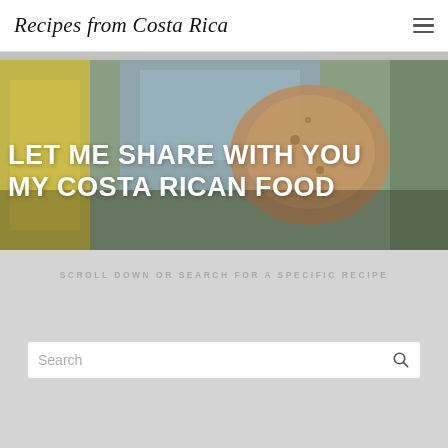Recipes from Costa Rica
[Figure (photo): Food photo background showing tortilla/flatbread with blue cloth and yellow textured surface]
LET ME SHARE WITH YOU MY COSTA RICAN FOOD
SCROLL DOWN OR SEARCH FOR A SPECIFIC RECIPE
Search